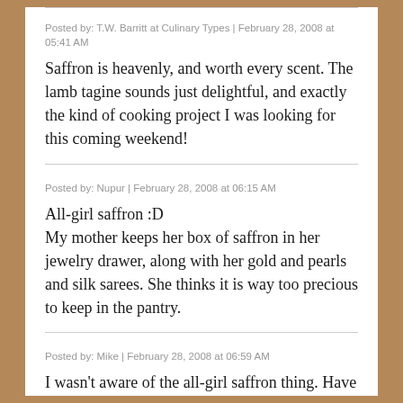Posted by: T.W. Barritt at Culinary Types | February 28, 2008 at 05:41 AM
Saffron is heavenly, and worth every scent. The lamb tagine sounds just delightful, and exactly the kind of cooking project I was looking for this coming weekend!
Posted by: Nupur | February 28, 2008 at 06:15 AM
All-girl saffron :D
My mother keeps her box of saffron in her jewelry drawer, along with her gold and pearls and silk sarees. She thinks it is way too precious to keep in the pantry.
Posted by: Mike | February 28, 2008 at 06:59 AM
I wasn't aware of the all-girl saffron thing. Have you